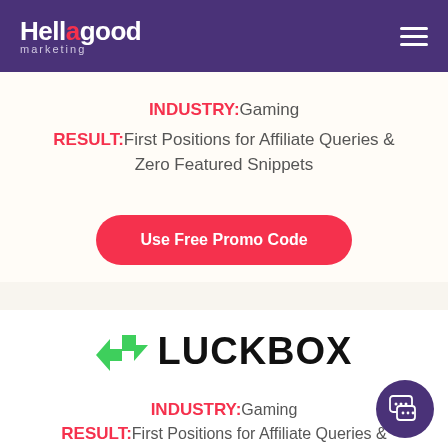Hellagood marketing
INDUSTRY: Gaming
RESULT: First Positions for Affiliate Queries & Zero Featured Snippets
Use Free Promo Code
[Figure (logo): Luckbox logo with green arrow icon and bold black LUCKBOX text]
INDUSTRY: Gaming
RESULT: First Positions for Affiliate Queries &